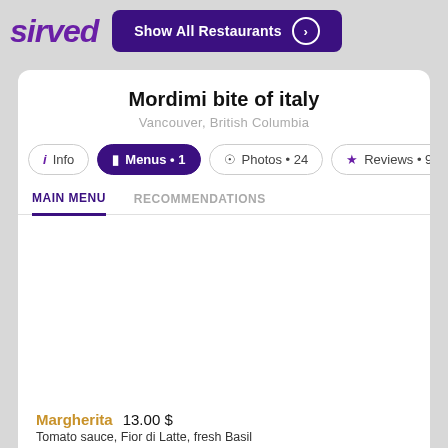sirved
Mordimi bite of italy
Vancouver, British Columbia
Info
Menus • 1
Photos • 24
Reviews • 99+
MAIN MENU
RECOMMENDATIONS
Margherita  13.00 $
Tomato sauce, Fior di Latte, fresh Basil
Capricciosa  18.00 $
Tomato sauce, Fior di Latte, Artichokes, Olives, Mushrooms, Eggs & Prosciutto Crudo
Ortolana  16.00 $